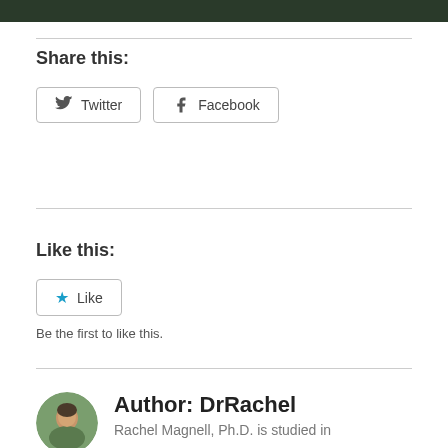[Figure (photo): Dark/forest image strip at top of page]
Share this:
Twitter  Facebook
Like this:
Like
Be the first to like this.
Author: DrRachel
Rachel Magnell, Ph.D. is studied in